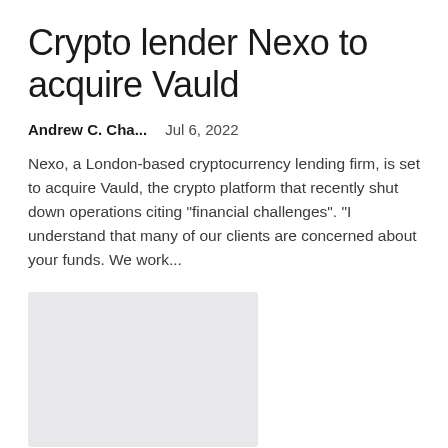Crypto lender Nexo to acquire Vauld
Andrew C. Cha...    Jul 6, 2022
Nexo, a London-based cryptocurrency lending firm, is set to acquire Vauld, the crypto platform that recently shut down operations citing "financial challenges". "I understand that many of our clients are concerned about your funds. We work...
[Figure (photo): Gray placeholder image for article thumbnail]
Medieval period derelict Mahishasuramardhini